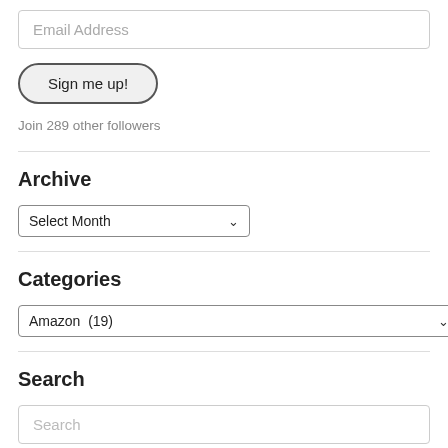Email Address
Sign me up!
Join 289 other followers
Archive
Select Month
Categories
Amazon  (19)
Search
Search